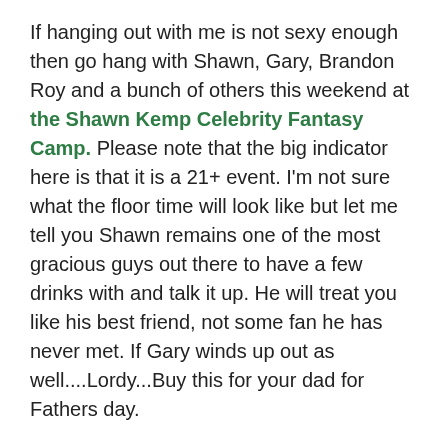If hanging out with me is not sexy enough then go hang with Shawn, Gary, Brandon Roy and a bunch of others this weekend at the Shawn Kemp Celebrity Fantasy Camp. Please note that the big indicator here is that it is a 21+ event. I'm not sure what the floor time will look like but let me tell you Shawn remains one of the most gracious guys out there to have a few drinks with and talk it up. He will treat you like his best friend, not some fan he has never met. If Gary winds up out as well....Lordy...Buy this for your dad for Fathers day.
I am also attending Eldridge Recasner's Father-Son Camp on June 14-15th at the Mercer Island CC. Guest coaches will be Brandon Roy, Jamal Crawford, Shawn Kemp, Tre Simmons, Will Conroy and more. It's going to be a great experience for Fathers and Sons.